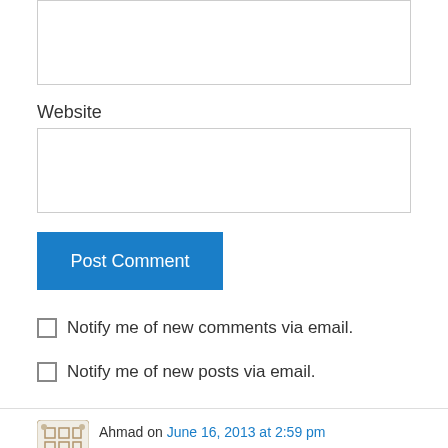[Figure (other): Top portion of a text input box (comment field), partially cropped at top of page]
Website
[Figure (other): Website URL text input field, empty, with light gray border]
Post Comment
Notify me of new comments via email.
Notify me of new posts via email.
Ahmad on June 16, 2013 at 2:59 pm
We will follow. Again, thank you for this light
Like